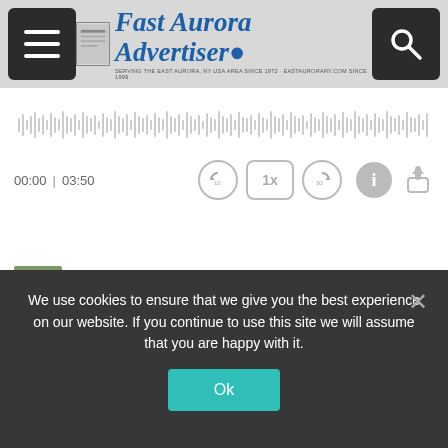Fast Aurora Advertiser — SERVING THE EAST AURORA, NY USA AREA SINCE 1972 · EASTAURORARY.COM SINCE 1999
[Figure (screenshot): Audio player waveform and controls showing 00:00 | 03:50 with rewind 10, 1x speed, forward 30 buttons, info and share icons]
Historian's Corner: After 100 Years, Hamlin... 3:50
Advertiser to Note 150th Year With Time Capsule 1:45
Busy Week Ahead 1:52
Iroquois Grad, Eric Reed '86, Nears Completion ... 4:58
Garage Sales June 24 & 25 1:06
We use cookies to ensure that we give you the best experience on our website. If you continue to use this site we will assume that you are happy with it.